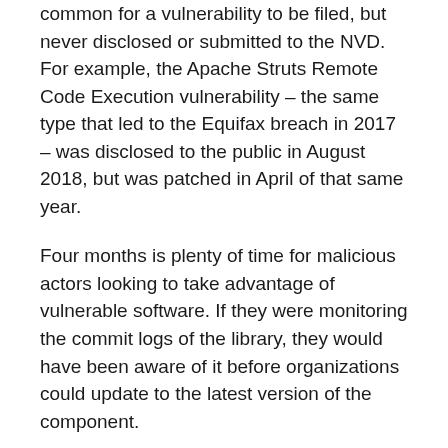common for a vulnerability to be filed, but never disclosed or submitted to the NVD. For example, the Apache Struts Remote Code Execution vulnerability – the same type that led to the Equifax breach in 2017 – was disclosed to the public in August 2018, but was patched in April of that same year.
Four months is plenty of time for malicious actors looking to take advantage of vulnerable software. If they were monitoring the commit logs of the library, they would have been aware of it before organizations could update to the latest version of the component.
Machine Learning and Natural Language Close the Gap
Machine learning technology has the ability to